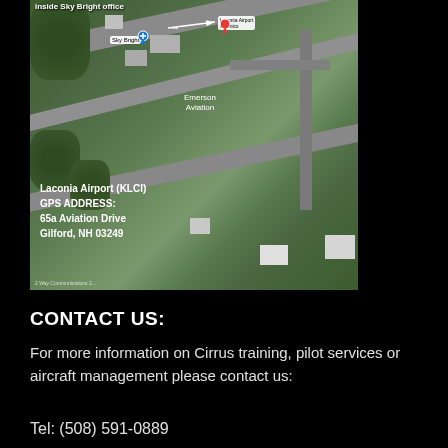[Figure (map): Aerial satellite map view of Laconia Airport (KLCI) showing runways, taxiways, hangars, and Sky Bright office location. Blue pin marks Sky Bright. Red pin marks Laconia Airport Avionics. Arrow pointing from sky bright to red pin. Text overlay shows GPS address: 65a Aviation Drive, Gilford, NH 03249.]
CONTACT US:
For more information on Cirrus training, pilot services or aircraft management please contact us:
Tel: (508) 591-0889